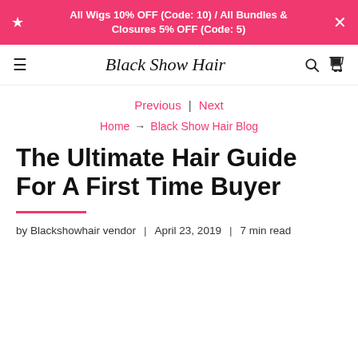All Wigs 10% OFF (Code: 10) / All Bundles & Closures 5% OFF (Code: 5)
Black Show Hair
Previous | Next
Home → Black Show Hair Blog
The Ultimate Hair Guide For A First Time Buyer
by Blackshowhair vendor | April 23, 2019 | 7 min read